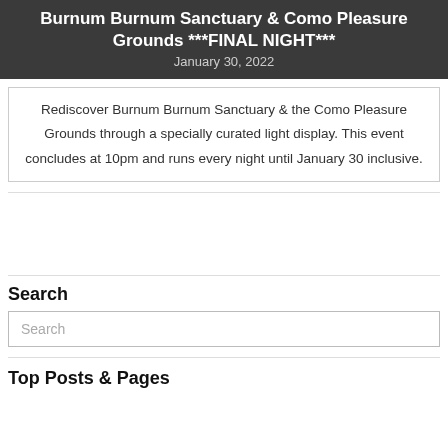Burnum Burnum Sanctuary & Como Pleasure Grounds ***FINAL NIGHT***
January 30, 2022
Rediscover Burnum Burnum Sanctuary & the Como Pleasure Grounds through a specially curated light display. This event concludes at 10pm and runs every night until January 30 inclusive.
Search
Search
Top Posts & Pages